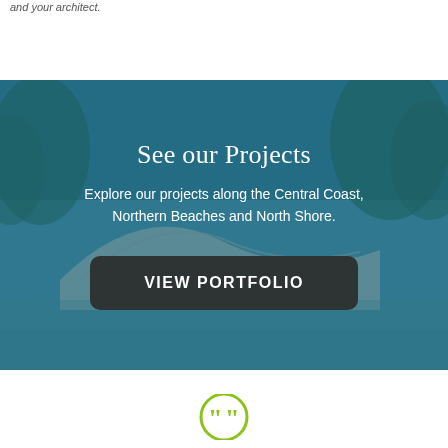and your architect.
[Figure (photo): Hero section with a teal/blue-tinted photo of a modern architectural building with curved roofline and trees in background. Overlaid with semi-transparent teal color.]
See our Projects
Explore our projects along the Central Coast, Northern Beaches and North Shore.
VIEW PORTFOLIO
[Figure (illustration): Yellow-green circular quotation mark icon at the bottom of the page.]